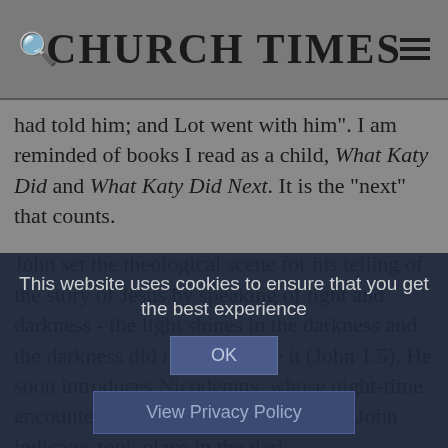CHURCH TIMES
had told him; and Lot went with him". I am reminded of books I read as a child, What Katy Did and What Katy Did Next. It is the "next" that counts.
John set the theological scene for his telling of the story of Jesus by speaking of light and darkness - the light shines in the darkness and the darkness did not overcome it (John 1.5). He soon introduces Nicodemus, whose night-time encounter is the first of the events that John indicates took place in the dark.
Unlike the synoptic gospels, John identifies the darkness that...
This website uses cookies to ensure that you get the best experience
OK
View Privacy Policy